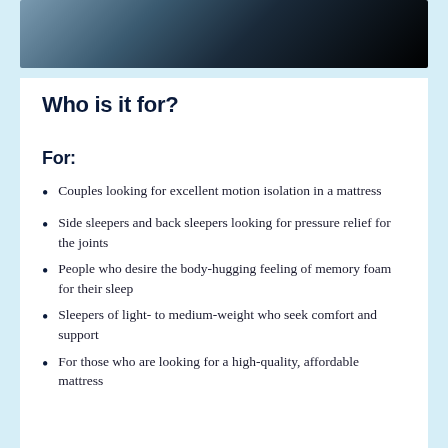[Figure (photo): Dark photo strip at top showing a bedroom/mattress scene with dark overlay]
Who is it for?
For:
Couples looking for excellent motion isolation in a mattress
Side sleepers and back sleepers looking for pressure relief for the joints
People who desire the body-hugging feeling of memory foam for their sleep
Sleepers of light- to medium-weight who seek comfort and support
For those who are looking for a high-quality, affordable mattress